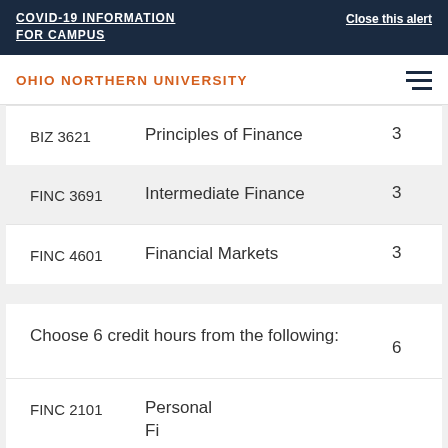COVID-19 INFORMATION FOR CAMPUS | Close this alert
OHIO NORTHERN UNIVERSITY
| Code | Course Name | Credits |
| --- | --- | --- |
| BIZ 3621 | Principles of Finance | 3 |
| FINC 3691 | Intermediate Finance | 3 |
| FINC 4601 | Financial Markets | 3 |
|  | Choose 6 credit hours from the following: | 6 |
| FINC 2101 | Personal Finance |  |